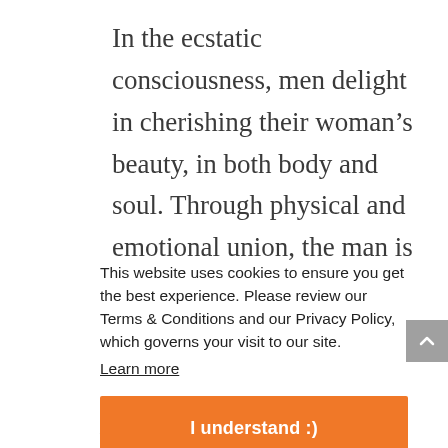In the ecstatic consciousness, men delight in cherishing their woman’s beauty, in both body and soul. Through physical and emotional union, the man is transported into
This website uses cookies to ensure you get the best experience. Please review our Terms & Conditions and our Privacy Policy, which governs your visit to our site.
Learn more
I understand :)
partially cut-off text at bottom